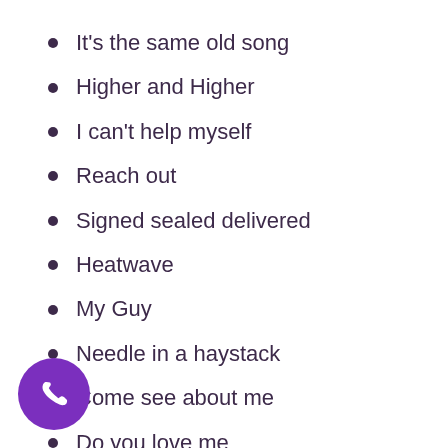It's the same old song
Higher and Higher
I can't help myself
Reach out
Signed sealed delivered
Heatwave
My Guy
Needle in a haystack
Come see about me
Do you love me
ptight
Heaven must have sent you
[Figure (illustration): Purple circular phone call button in the bottom-left corner]